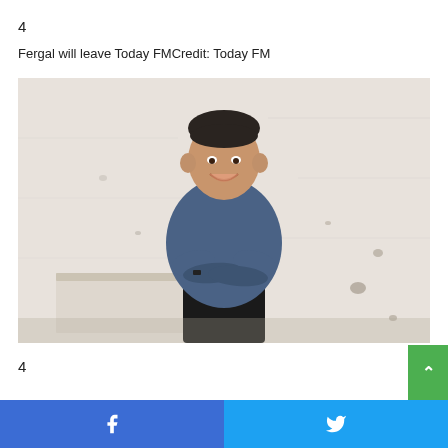4
Fergal will leave Today FMCredit: Today FM
[Figure (photo): A man in a denim blue shirt standing with arms crossed, smiling, in front of a white textured brick wall]
4
Facebook share | Twitter share